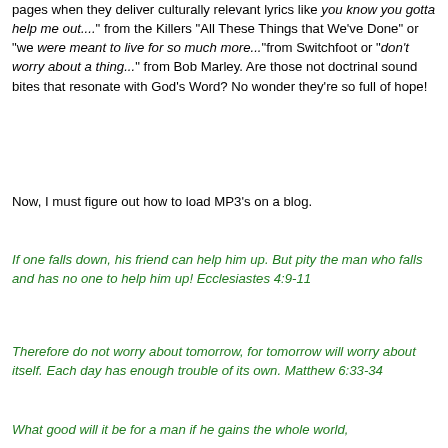pages when they deliver culturally relevant lyrics like "you know you gotta help me out...." from the Killers "All These Things that We've Done" or "we were meant to live for so much more..."from Switchfoot or "don't worry about a thing..." from Bob Marley.  Are those not doctrinal sound bites that resonate with God's Word? No wonder they're so full of hope!
Now, I must figure out how to load MP3's on a blog.
If one falls down, his friend can help him up. But pity the man who falls and has no one to help him up!  Ecclesiastes 4:9-11
Therefore do not worry about tomorrow, for tomorrow will worry about itself. Each day has enough trouble of its own.  Matthew 6:33-34
What good will it be for a man if he gains the whole world, yet forfeits his soul? Or what can a man give in exchange for